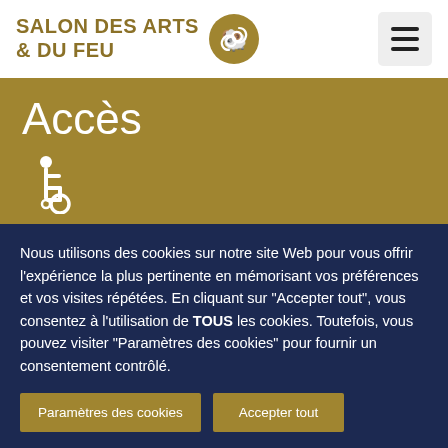SALON DES ARTS & DU FEU
Accès
[Figure (illustration): Wheelchair accessibility icon (white)]
En voiture :
Nous utilisons des cookies sur notre site Web pour vous offrir l'expérience la plus pertinente en mémorisant vos préférences et vos visites répétées. En cliquant sur "Accepter tout", vous consentez à l'utilisation de TOUS les cookies. Toutefois, vous pouvez visiter "Paramètres des cookies" pour fournir un consentement contrôlé.
Paramètres des cookies | Accepter tout